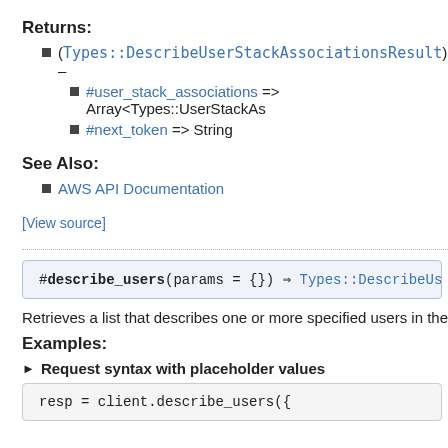Returns:
(Types::DescribeUserStackAssociationsResult) –
#user_stack_associations => Array<Types::UserStackAs
#next_token => String
See Also:
AWS API Documentation
[View source]
#describe_users(params = {}) ⇒ Types::DescribeUse
Retrieves a list that describes one or more specified users in the
Examples:
▶ Request syntax with placeholder values
resp = client.describe_users({